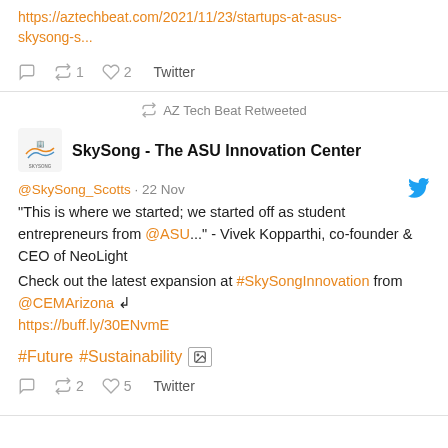https://aztechbeat.com/2021/11/23/startups-at-asus-skysong-s...
◯ ↺1 ♡2 Twitter
↺ AZ Tech Beat Retweeted
SkySong - The ASU Innovation Center
@SkySong_Scotts · 22 Nov
"This is where we started; we started off as student entrepreneurs from @ASU..." - Vivek Kopparthi, co-founder & CEO of NeoLight

Check out the latest expansion at #SkySongInnovation from @CEMArizona ↲ https://buff.ly/30ENvmE

#Future #Sustainability
◯ ↺2 ♡5 Twitter